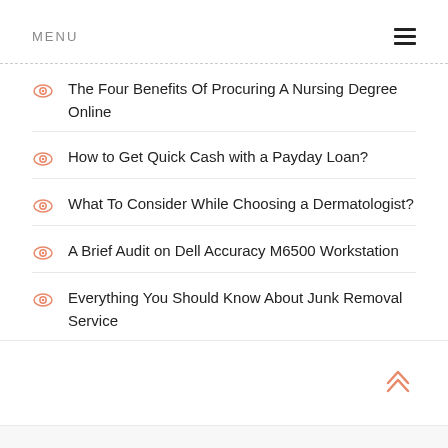MENU
The Four Benefits Of Procuring A Nursing Degree Online
How to Get Quick Cash with a Payday Loan?
What To Consider While Choosing a Dermatologist?
A Brief Audit on Dell Accuracy M6500 Workstation
Everything You Should Know About Junk Removal Service